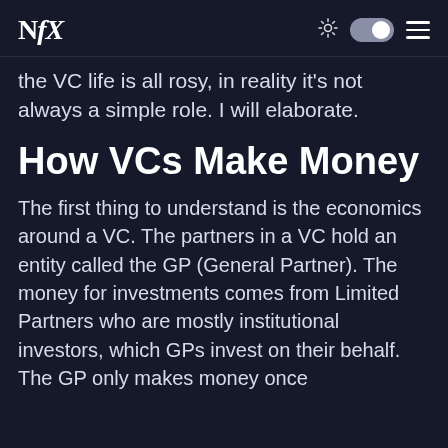NfX
the VC life is all rosy, in reality it's not always a simple role. I will elaborate.
How VCs Make Money
The first thing to understand is the economics around a VC. The partners in a VC hold an entity called the GP (General Partner). The money for investments comes from Limited Partners who are mostly institutional investors, which GPs invest on their behalf. The GP only makes money once